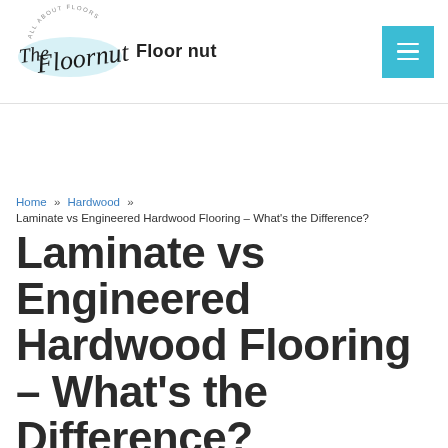The Floornut — Floor nut
Home » Hardwood »
Laminate vs Engineered Hardwood Flooring – What's the Difference?
Laminate vs Engineered Hardwood Flooring – What's the Difference?